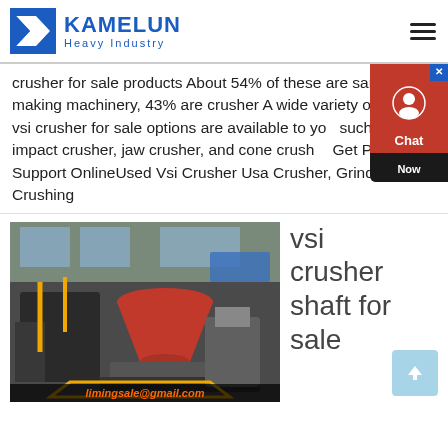[Figure (logo): Kamelun Heavy Industry logo with blue K icon and company name]
crusher for sale products About 54% of these are sand making machinery, 43% are crusher A wide variety of used vsi crusher for sale options are available to you such as impact crusher, jaw crusher, and cone crusher Get Price And Support OnlineUsed Vsi Crusher Usa Crusher, Grinding Mills, Crushing
[Figure (photo): VSI crusher machine with red hopper in an industrial warehouse setting. Image has overlay text: limingsale@gmail.com]
vsi crusher shaft for sale